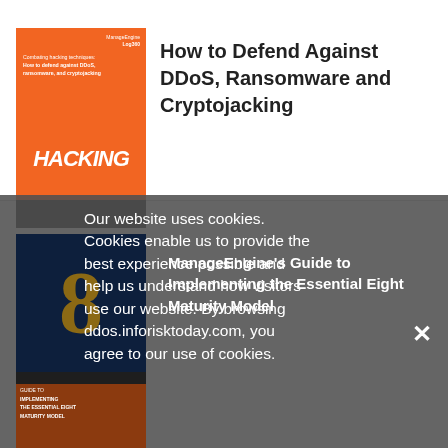[Figure (illustration): Orange book cover for 'How to Defend Against DDoS, ransomware, and cryptojacking' with HACKING text]
How to Defend Against DDoS, Ransomware and Cryptojacking
[Figure (illustration): Dark navy book cover with large gold 8 for ManageEngine's Guide to Implementing the Essential Eight Maturity Model]
ManageEngine's Guide to Implementing the Essential Eight Maturity Model
Our website uses cookies. Cookies enable us to provide the best experience possible and help us understand how visitors use our website. By browsing ddos.inforisktoday.com, you agree to our use of cookies.